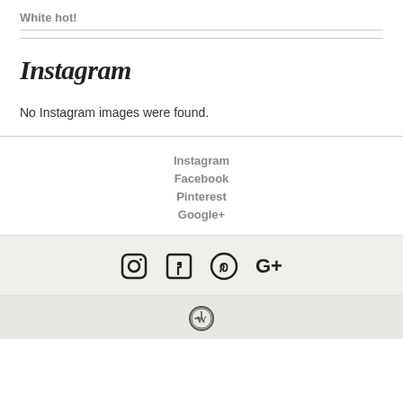White hot!
Instagram
No Instagram images were found.
Instagram
Facebook
Pinterest
Google+
[Figure (other): Social media icons: Instagram, Facebook, Pinterest, Google+]
[Figure (logo): WordPress logo]